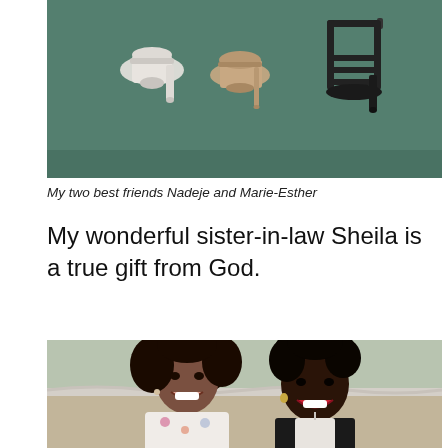[Figure (photo): Top-down view of three pairs of women's heels on a teal/green floor - white peep-toe heels, nude/champagne heels, and black strappy sandals]
My two best friends Nadeje and Marie-Esther
My wonderful sister-in-law Sheila is a true gift from God.
[Figure (photo): Two smiling Black women with natural hair posing together indoors at what appears to be a formal event. The woman on the left wears a floral top and the woman on the right wears a black and white halter dress.]